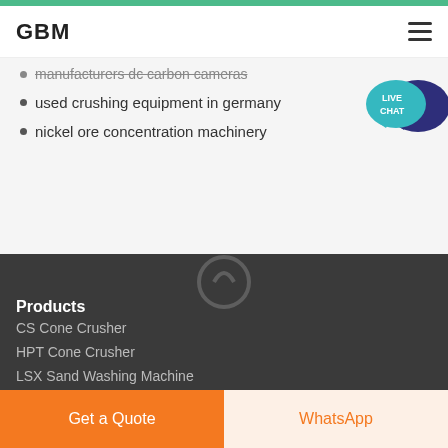GBM
manufacturers carbon cameras
used crushing equipment in germany
nickel ore concentration machinery
[Figure (logo): Live Chat bubble icon in teal/dark blue]
[Figure (logo): GBM circular logo watermark in dark footer area]
Products
CS Cone Crusher
HPT Cone Crusher
LSX Sand Washing Machine
Get a Quote | WhatsApp